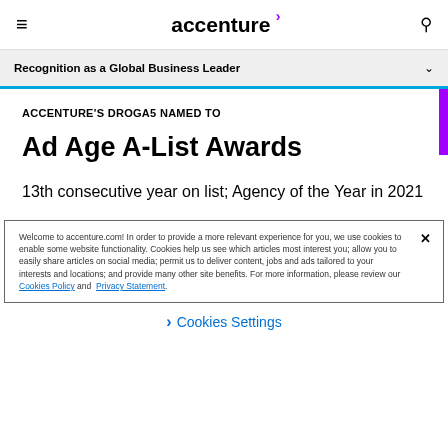accenture
Recognition as a Global Business Leader
ACCENTURE'S DROGA5 NAMED TO
Ad Age A-List Awards
13th consecutive year on list; Agency of the Year in 2021
Welcome to accenture.com! In order to provide a more relevant experience for you, we use cookies to enable some website functionality. Cookies help us see which articles most interest you; allow you to easily share articles on social media; permit us to deliver content, jobs and ads tailored to your interests and locations; and provide many other site benefits. For more information, please review our Cookies Policy and Privacy Statement.
Cookies Settings